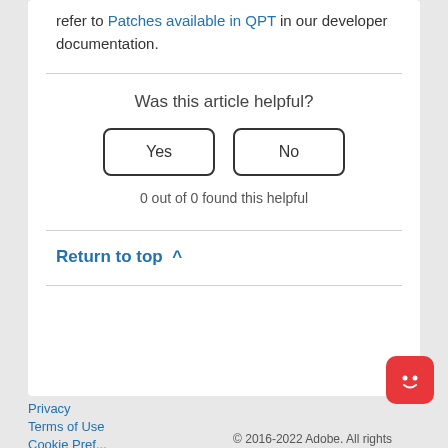refer to Patches available in QPT in our developer documentation.
Was this article helpful?
Yes
No
0 out of 0 found this helpful
Return to top ^
Privacy
Terms of Use
Cookie Pref...
© 2016-2022 Adobe. All rights